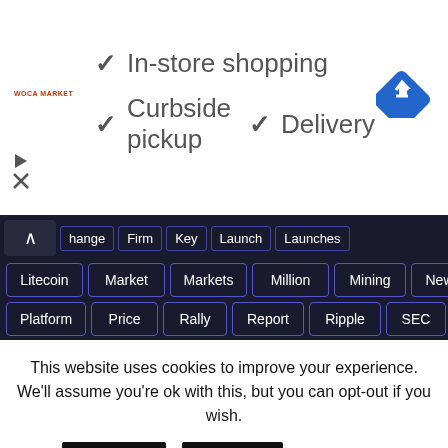[Figure (screenshot): Advertisement banner for Woca Market showing checkmarks for In-store shopping, Curbside pickup, Delivery, and a navigation icon]
✓ In-store shopping
✓ Curbside pickup  ✓ Delivery
hange  Firm  Key  Launch  Launches
Litecoin  Market  Markets  Million  Mining  News
Platform  Price  Rally  Report  Ripple  SEC
Stocks  Support  Token  Top  Trading  Watch
Web3  XRP
CALENDAR
This website uses cookies to improve your experience. We'll assume you're ok with this, but you can opt-out if you wish.
Accept  Reject  Read More